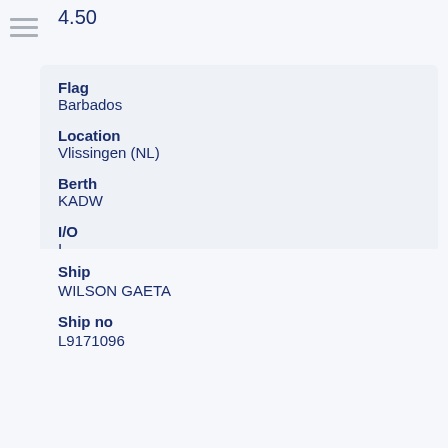4.50
Flag
Barbados
Location
Vlissingen (NL)
Berth
KADW
I/O
I
Agent
Wilson Agency
Ship
WILSON GAETA
Ship no
L9171096